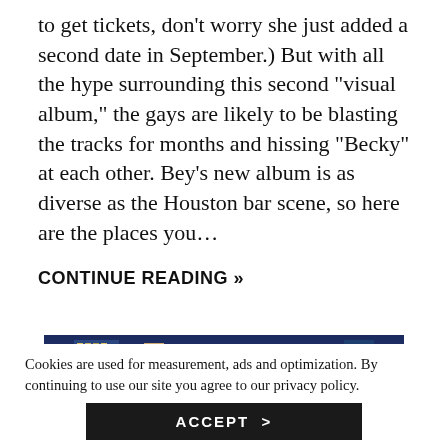to get tickets, don't worry she just added a second date in September.) But with all the hype surrounding this second “visual album,” the gays are likely to be blasting the tracks for months and hissing “Becky” at each other. Bey’s new album is as diverse as the Houston bar scene, so here are the places you…
CONTINUE READING »
[Figure (photo): Night-time cityscape of Houston showing illuminated skyscrapers and buildings, with one building lit in purple/pink in the foreground.]
Cookies are used for measurement, ads and optimization. By continuing to use our site you agree to our privacy policy.
ACCEPT >